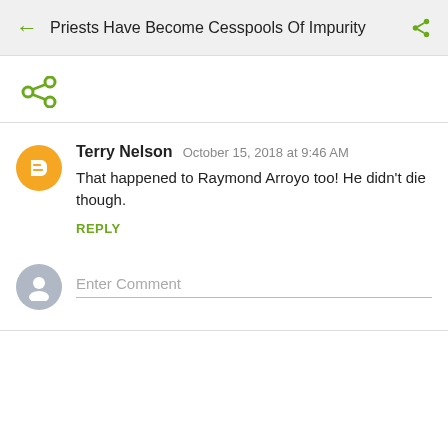Priests Have Become Cesspools Of Impurity
[Figure (screenshot): Share icon (green network/share symbol)]
Terry Nelson  October 15, 2018 at 9:46 AM
That happened to Raymond Arroyo too! He didn't die though.
REPLY
Enter Comment